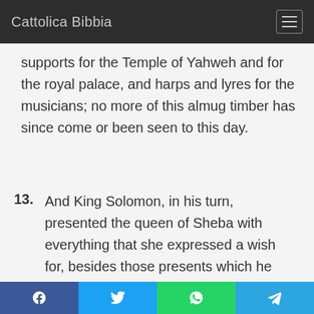Cattolica Bibbia
supports for the Temple of Yahweh and for the royal palace, and harps and lyres for the musicians; no more of this almug timber has since come or been seen to this day.
13. And King Solomon, in his turn, presented the queen of Sheba with everything that she expressed a wish for, besides those presents which he gave her with a munificence worthy of King Solomon. After which, she went home to her own
Social share bar: Facebook, Twitter, WhatsApp, Telegram